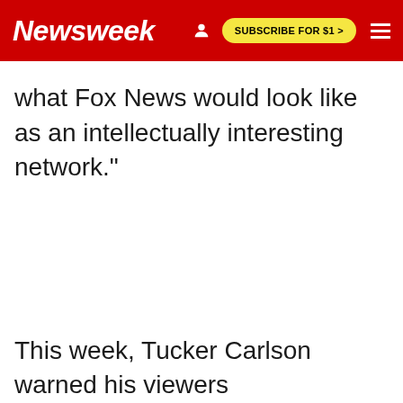Newsweek | SUBSCRIBE FOR $1 >
what Fox News would look like as an intellectually interesting network."
This week, Tucker Carlson warned his viewers